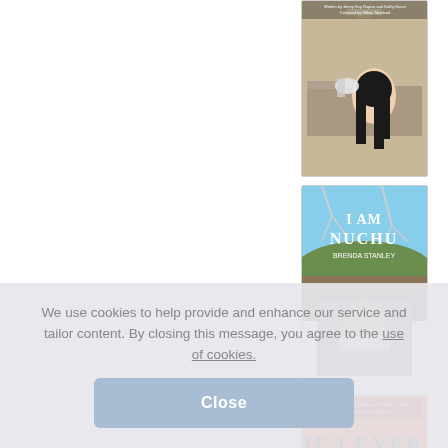[Figure (illustration): Book cover showing a person with long black hair from behind, with a hand near them, interior scene with overhead light. Title and author text visible at top.]
[Figure (illustration): Book cover for 'I Am Nuchu' by Brenda Stanley. Features landscape with mountains/hills and a person with crossed arms in portrait below.]
[Figure (illustration): Book cover for 'If I Ever Get Out' on orange background with large stylized text and decorative art deco style lettering.]
We use cookies to help provide and enhance our service and tailor content. By closing this message, you agree to the use of cookies.
Close